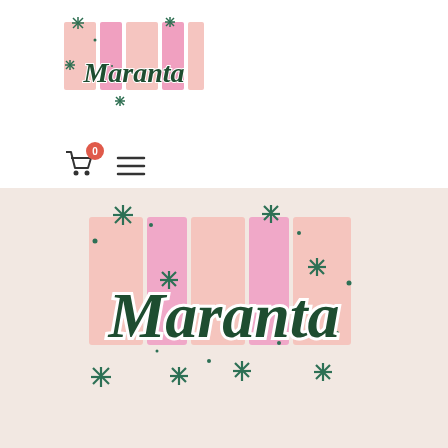[Figure (logo): Maranta brand logo with pink and salmon colored rectangular blocks and teal asterisk/star decorations, script text 'Maranta' in dark green]
[Figure (illustration): Shopping cart icon with red badge showing '0', and hamburger menu icon]
[Figure (logo): Large Maranta brand logo on pinkish-beige background with pink rectangular blocks and teal asterisk/star decorations, script text 'Maranta' in dark green with white outline]
SEARCH
REFUND P...
PRIVACY POLICY
TERMS AND CONDITIONS
Chat with us